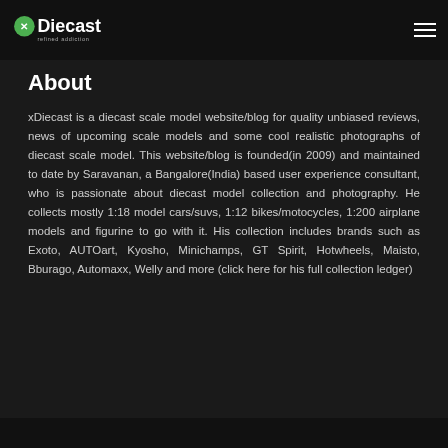xDiecast — refined addiction (logo and navigation)
About
xDiecast is a diecast scale model website/blog for quality unbiased reviews, news of upcoming scale models and some cool realistic photographs of diecast scale model. This website/blog is founded(in 2009) and maintained to date by Saravanan, a Bangalore(India) based user experience consultant, who is passionate about diecast model collection and photography. He collects mostly 1:18 model cars/suvs, 1:12 bikes/motocycles, 1:200 airplane models and figurine to go with it. His collection includes brands such as Exoto, AUTOart, Kyosho, Minichamps, GT Spirit, Hotwheels, Maisto, Bburago, Automaxx, Welly and more (click here for his full collection ledger)